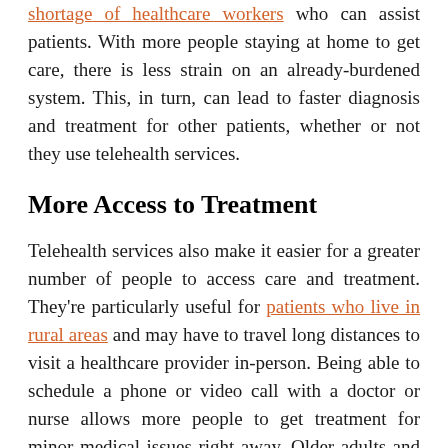shortage of healthcare workers who can assist patients. With more people staying at home to get care, there is less strain on an already-burdened system. This, in turn, can lead to faster diagnosis and treatment for other patients, whether or not they use telehealth services.
More Access to Treatment
Telehealth services also make it easier for a greater number of people to access care and treatment. They're particularly useful for patients who live in rural areas and may have to travel long distances to visit a healthcare provider in-person. Being able to schedule a phone or video call with a doctor or nurse allows more people to get treatment for minor medical issues right away. Older adults and people with mobility issues can also benefit from this increased access to care, even if they live in an urban area or close to a healthcare provider.
Additionally, telehealth services are important for